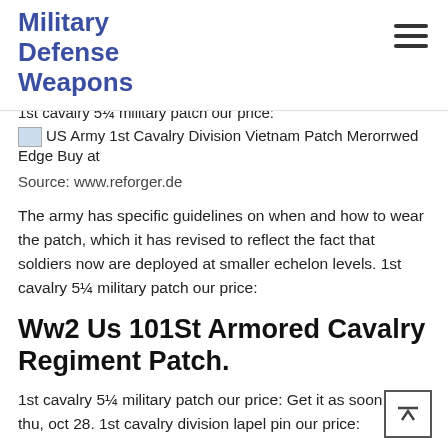Military Defense Weapons
1st cavalry 5¼ military patch our price:
[Figure (photo): US Army 1st Cavalry Division Vietnam Patch Merorrwed Edge Buy at (broken image placeholder)]
Source: www.reforger.de
The army has specific guidelines on when and how to wear the patch, which it has revised to reflect the fact that soldiers now are deployed at smaller echelon levels. 1st cavalry 5¼ military patch our price:
Ww2 Us 101St Armored Cavalry Regiment Patch.
1st cavalry 5¼ military patch our price: Get it as soon as thu, oct 28. 1st cavalry division lapel pin our price:
Skip To Content Army Air